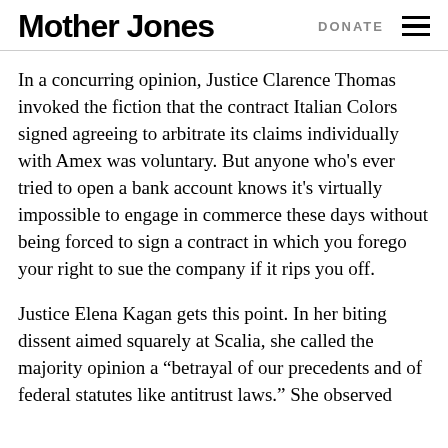Mother Jones | DONATE
In a concurring opinion, Justice Clarence Thomas invoked the fiction that the contract Italian Colors signed agreeing to arbitrate its claims individually with Amex was voluntary. But anyone who’s ever tried to open a bank account knows it’s virtually impossible to engage in commerce these days without being forced to sign a contract in which you forego your right to sue the company if it rips you off.
Justice Elena Kagan gets this point. In her biting dissent aimed squarely at Scalia, she called the majority opinion a “betrayal of our precedents and of federal statutes like antitrust laws.” She observed